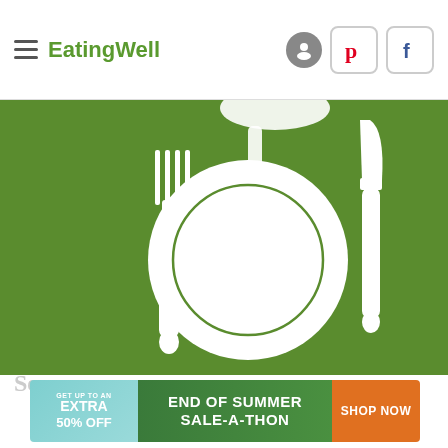EatingWell
[Figure (illustration): Green background with white silhouette place setting: fork on left, dinner plate with inner circle in center, knife on right, spoon at top]
Ser
[Figure (infographic): Advertisement banner: GET UP TO AN EXTRA 50% OFF | END OF SUMMER SALE-A-THON | SHOP NOW]